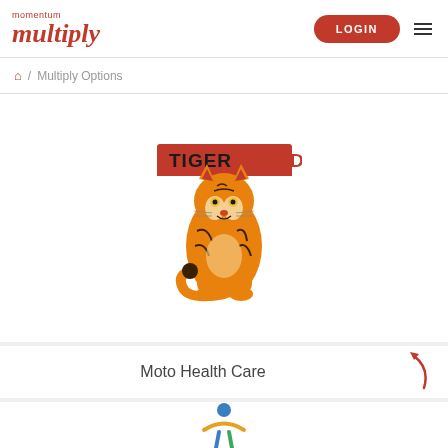momentum multiply | LOGIN
Home / Multiply Options
[Figure (logo): Tiger Brands logo — bold tiger leaping forward with red banner, text TIGER BRANDS in black and red]
Moto Health Care
[Figure (logo): Moto Health Care logo — partial view of colorful figure icon]